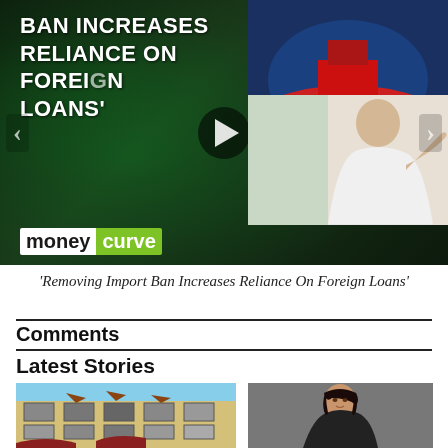[Figure (screenshot): Video thumbnail showing 'BAN INCREASES RELIANCE ON FOREIGN LOANS' text overlay on dark green background with moneycurve logo, a ship image top right, and an elderly man gesturing on the right side. Play button in center.]
'Removing Import Ban Increases Reliance On Foreign Loans'
Comments
Latest Stories
[Figure (photo): Photo of a damaged multi-storey building with broken windows and structural damage, yellow exterior]
[Figure (photo): Photo of a woman in dark attire seated, looking at camera against grey background]